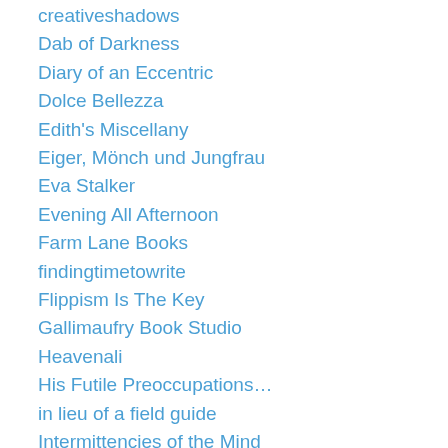creativeshadows
Dab of Darkness
Diary of an Eccentric
Dolce Bellezza
Edith's Miscellany
Eiger, Mönch und Jungfrau
Eva Stalker
Evening All Afternoon
Farm Lane Books
findingtimetowrite
Flippism Is The Key
Gallimaufry Book Studio
Heavenali
His Futile Preoccupations…
in lieu of a field guide
Intermittencies of the Mind
Iris on Books
JacquiWine's Journal
Kaggsy's Bookish Ramblings
le blog de mimi